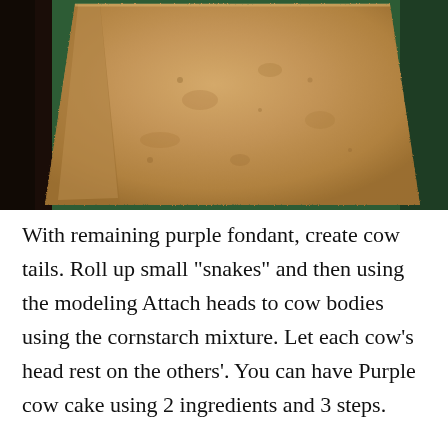[Figure (photo): A close-up photograph of a flat square baked cake or bread piece, tan/golden-brown in color with a textured surface, slightly raised edges, leaning against a dark green background with dark wooden object to the left.]
With remaining purple fondant, create cow tails. Roll up small "snakes" and then using the modeling Attach heads to cow bodies using the cornstarch mixture. Let each cow's head rest on the others'. You can have Purple cow cake using 2 ingredients and 3 steps.